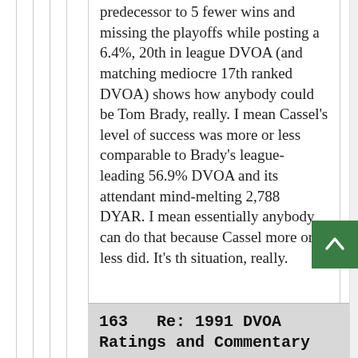predecessor to 5 fewer wins and missing the playoffs while posting a 6.4%, 20th in league DVOA (and matching mediocre 17th ranked DVOA) shows how anybody could be Tom Brady, really. I mean Cassel's level of success was more or less comparable to Brady's league-leading 56.9% DVOA and its attendant mind-melting 2,788 DYAR. I mean essentially anybody can do that because Cassel more or less did. It's th situation, really.
163   Re: 1991 DVOA Ratings and Commentary